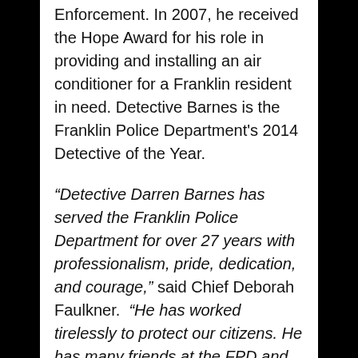Enforcement. In 2007, he received the Hope Award for his role in providing and installing an air conditioner for a Franklin resident in need. Detective Barnes is the Franklin Police Department's 2014 Detective of the Year.
“Detective Darren Barnes has served the Franklin Police Department for over 27 years with professionalism, pride, dedication, and courage,” said Chief Deborah Faulkner. “He has worked tirelessly to protect our citizens. He has many friends at the FPD and will be greatly missed by all of us.”